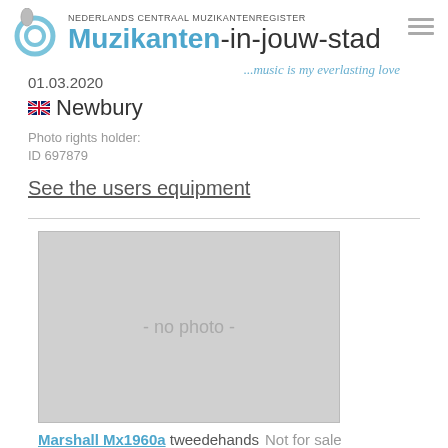NEDERLANDS CENTRAAL MUZIKANTENREGISTER Muzikanten-in-jouw-stad ...music is my everlasting love
01.03.2020
🇬🇧 Newbury
Photo rights holder:
ID 697879
See the users equipment
[Figure (photo): No photo placeholder — grey rectangle with text '- no photo -']
Marshall Mx1960a tweedehands   Not for sale